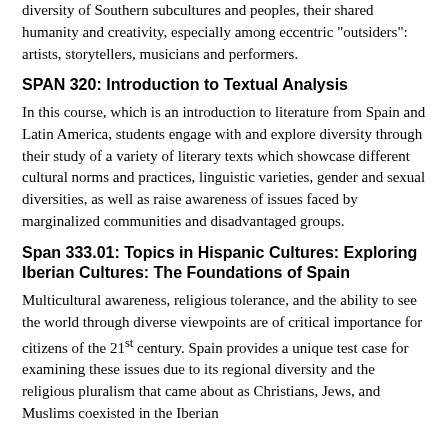diversity of Southern subcultures and peoples, their shared humanity and creativity, especially among eccentric "outsiders": artists, storytellers, musicians and performers.
SPAN 320: Introduction to Textual Analysis
In this course, which is an introduction to literature from Spain and Latin America, students engage with and explore diversity through their study of a variety of literary texts which showcase different cultural norms and practices, linguistic varieties, gender and sexual diversities, as well as raise awareness of issues faced by marginalized communities and disadvantaged groups.
Span 333.01: Topics in Hispanic Cultures: Exploring Iberian Cultures: The Foundations of Spain
Multicultural awareness, religious tolerance, and the ability to see the world through diverse viewpoints are of critical importance for citizens of the 21st century. Spain provides a unique test case for examining these issues due to its regional diversity and the religious pluralism that came about as Christians, Jews, and Muslims coexisted in the Iberian